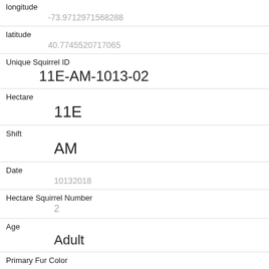| longitude | -73.9712971568288 |
| latitude | 40.7745520717065 |
| Unique Squirrel ID | 11E-AM-1013-02 |
| Hectare | 11E |
| Shift | AM |
| Date | 10132018 |
| Hectare Squirrel Number | 2 |
| Age | Adult |
| Primary Fur Color | Gray |
| Highlight Fur Color | Black |
| Combination of Primary and Highlight Color |  |